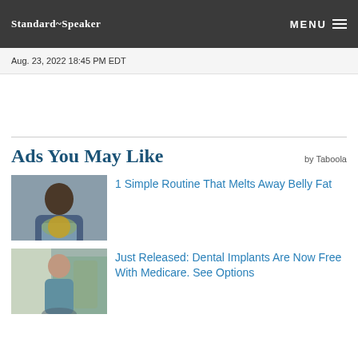Standard-Speaker  MENU
Aug. 23, 2022 18:45 PM EDT
Ads You May Like
by Taboola
[Figure (photo): Man holding a pan of food, ad for belly fat routine]
1 Simple Routine That Melts Away Belly Fat
[Figure (photo): Woman standing outdoors near a tree, ad for dental implants]
Just Released: Dental Implants Are Now Free With Medicare. See Options